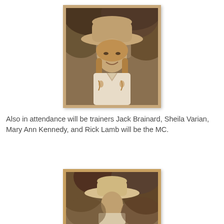[Figure (photo): Sepia-toned portrait photo of a woman wearing a cowboy hat and an embroidered western shirt, smiling, outdoors with trees in the background]
Also in attendance will be trainers Jack Brainard, Sheila Varian, Mary Ann Kennedy, and Rick Lamb will be the MC.
[Figure (photo): Sepia-toned photo of a person wearing a cowboy hat, outdoors with trees in the background, partially cropped at bottom of page]